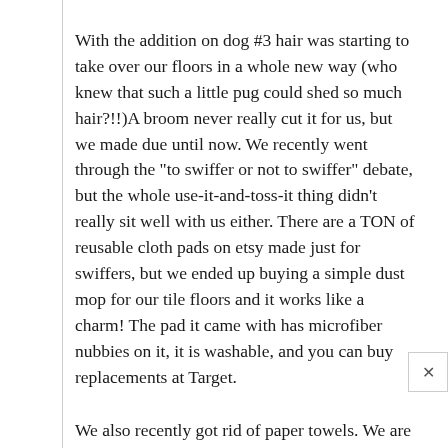With the addition on dog #3 hair was starting to take over our floors in a whole new way (who knew that such a little pug could shed so much hair?!!)A broom never really cut it for us, but we made due until now. We recently went through the “to swiffer or not to swiffer” debate, but the whole use-it-and-toss-it thing didn’t really sit well with us either. There are a TON of reusable cloth pads on etsy made just for swiffers, but we ended up buying a simple dust mop for our tile floors and it works like a charm! The pad it came with has microfiber nubbies on it, it is washable, and you can buy replacements at Target.
We also recently got rid of paper towels. We are still weighing the pros and cons since we seem to go through a lot of cloths that require laundering, but so far it hasn’t been too bad! We’re not brave enough to try reusable cloth for toilet paper (so very very gross) but we did switch to stuff made